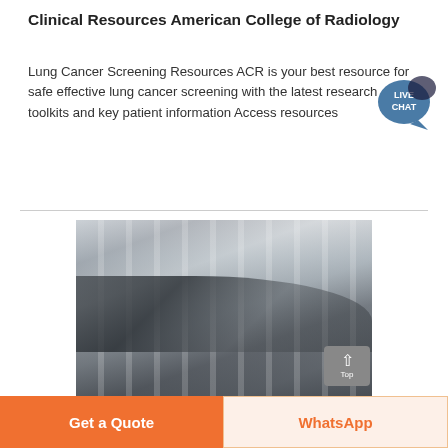Clinical Resources American College of Radiology
Lung Cancer Screening Resources ACR is your best resource for safe effective lung cancer screening with the latest research toolkits and key patient information Access resources
[Figure (photo): Industrial interior photo showing the inside of a large factory or warehouse with skylights, metal roof structure, conveyor belts, and heavy industrial machinery including what appears to be a mill or crusher.]
Get a Quote
WhatsApp